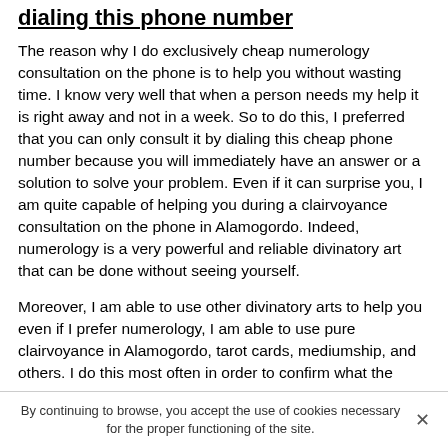dialing this phone number
The reason why I do exclusively cheap numerology consultation on the phone is to help you without wasting time. I know very well that when a person needs my help it is right away and not in a week. So to do this, I preferred that you can only consult it by dialing this cheap phone number because you will immediately have an answer or a solution to solve your problem. Even if it can surprise you, I am quite capable of helping you during a clairvoyance consultation on the phone in Alamogordo. Indeed, numerology is a very powerful and reliable divinatory art that can be done without seeing yourself.
Moreover, I am able to use other divinatory arts to help you even if I prefer numerology, I am able to use pure clairvoyance in Alamogordo, tarot cards, mediumship, and others. I do this most often in order to confirm what the
By continuing to browse, you accept the use of cookies necessary for the proper functioning of the site.